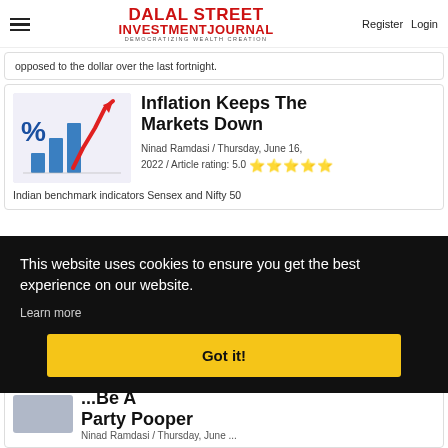Dalal Street Investment Journal — DEMOCRATIZING WEALTH CREATION | Register | Login
opposed to the dollar over the last fortnight.
Inflation Keeps The Markets Down
Ninad Ramdasi / Thursday, June 16, 2022 / Article rating: 5.0 ★★★★★
Indian benchmark indicators Sensex and Nifty 50...
This website uses cookies to ensure you get the best experience on our website.
Learn more
Got it!
...Be A Party Pooper
Ninad Ramdasi / Thursday, June ...